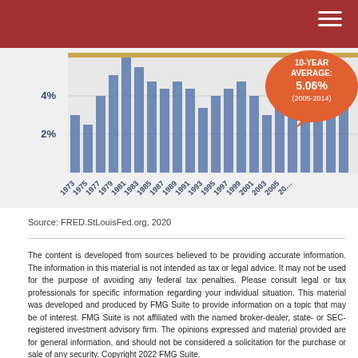[Figure (bar-chart): Bar chart showing historical data from 1973 to 2005+, with y-axis labels at 2% and 4%, and an orange callout bubble showing the 10-year average of 5.06% (2005-2014). Gold reference line near top.]
Source: FRED.StLouisFed.org, 2020
The content is developed from sources believed to be providing accurate information. The information in this material is not intended as tax or legal advice. It may not be used for the purpose of avoiding any federal tax penalties. Please consult legal or tax professionals for specific information regarding your individual situation. This material was developed and produced by FMG Suite to provide information on a topic that may be of interest. FMG Suite is not affiliated with the named broker-dealer, state- or SEC-registered investment advisory firm. The opinions expressed and material provided are for general information, and should not be considered a solicitation for the purchase or sale of any security. Copyright 2022 FMG Suite.